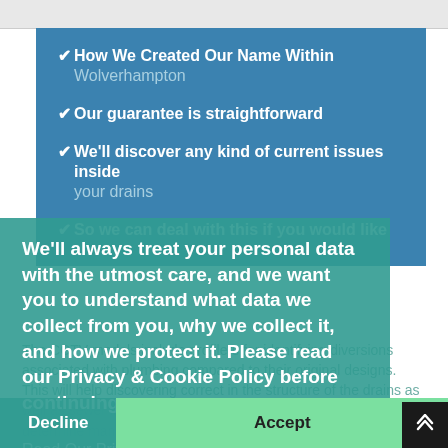✔ How We Created Our Name Within Wolverhampton
✔ Our guarantee is straightforward
✔ We'll discover any kind of current issues inside your drains
✔ So we can deal with this if you would like
We'll always treat your personal data with the utmost care, and we want you to understand what data we collect from you, why we collect it, and how we protect it. Please read our Privacy & Cookie Policy before continuing.
Read Our Privacy and Cookie Policy
The CCTV models include profilers for identifying diversions associated with plumbing compared to their original designs. This will help discovering correct in the structure of the drains as well as sewer lines easier. The actual profiling gear may also determine many other issues, such as water pipe
Decline
Accept